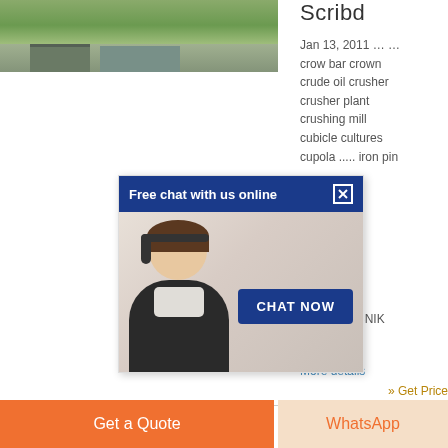[Figure (photo): Partial photo of an outdoor structure with green trees in background, cropped at top]
Scribd
Jan 13, 2011 … … crow bar crown crude oil crusher crusher plant crushing mill cubicle cultures cupola ..... iron pin
nion
pe
die
[Figure (photo): Chat widget popup with 'Free chat with us online' header in dark blue, showing a smiling woman with headset, and a 'CHAT NOW' button in dark blue]
e i
termini REČNIK (USA).
More details
» Get Price